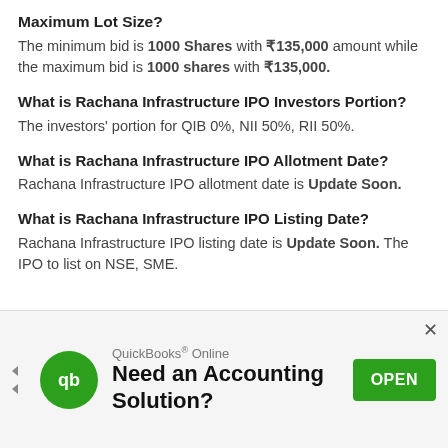Maximum Lot Size?
The minimum bid is 1000 Shares with ₹135,000 amount while the maximum bid is 1000 shares with ₹135,000.
What is Rachana Infrastructure IPO Investors Portion?
The investors' portion for QIB 0%, NII 50%, RII 50%.
What is Rachana Infrastructure IPO Allotment Date?
Rachana Infrastructure IPO allotment date is Update Soon.
What is Rachana Infrastructure IPO Listing Date?
Rachana Infrastructure IPO listing date is Update Soon. The IPO to list on NSE, SME.
[Figure (infographic): QuickBooks Online advertisement banner with logo, headline 'Need an Accounting Solution?' and OPEN button]